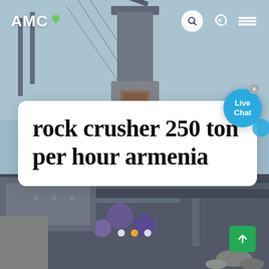[Figure (photo): Industrial rock crusher machinery with steel framework, conveyor structure, and pipes, photographed outdoors against a light blue sky. Heavy grey metal equipment fills the frame.]
AMC
rock crusher 250 ton per hour armenia